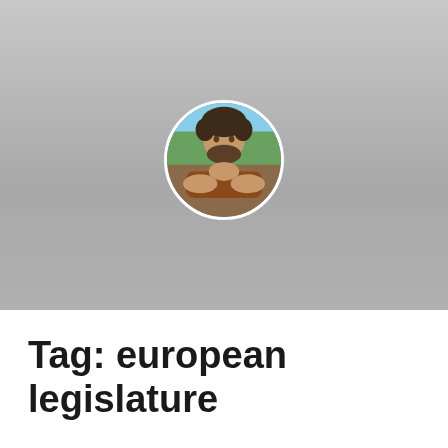[Figure (photo): Circular avatar photo of a man with curly hair and beard, resting his chin on his arms, set against a grey gradient background header area]
≡ Menu
Tag: european legislature